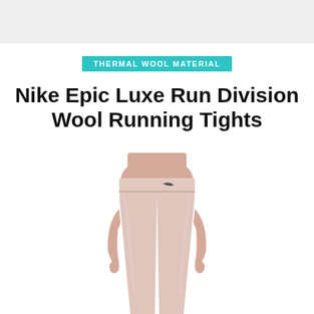THERMAL WOOL MATERIAL
Nike Epic Luxe Run Division Wool Running Tights
[Figure (photo): A woman wearing light pink Nike running tights, showing the waistband with a small Nike swoosh logo, photographed from waist down against a white background.]